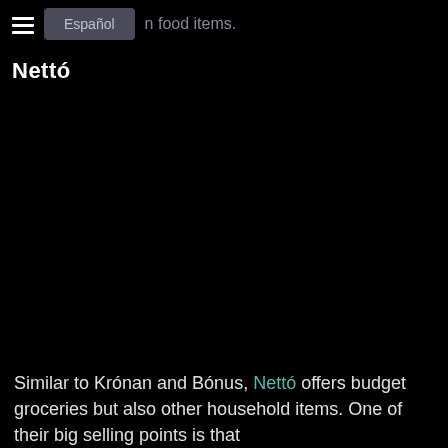look… Español …n food items.
Nettó
[Figure (photo): Large black image area, content not visible]
Similar to Krónan and Bónus, Nettó offers budget groceries but also other household items. One of their big selling points is that